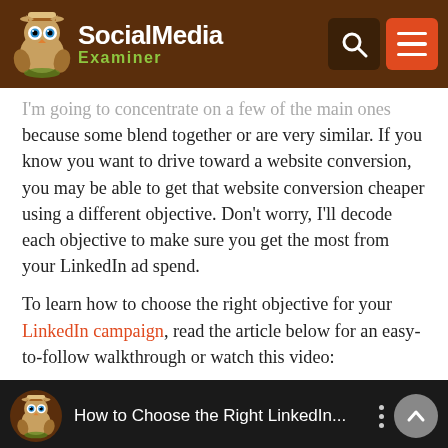SocialMedia Examiner
I'm going to concentrate on a few of the main ones because some blend together or are very similar. If you know you want to drive toward a website conversion, you may be able to get that website conversion cheaper using a different objective. Don't worry, I'll decode each objective to make sure you get the most from your LinkedIn ad spend.
To learn how to choose the right objective for your LinkedIn campaign, read the article below for an easy-to-follow walkthrough or watch this video:
[Figure (screenshot): Video thumbnail bar showing 'How to Choose the Right LinkedIn...' with Social Media Examiner owl logo, three-dot menu, and up arrow button on dark background]